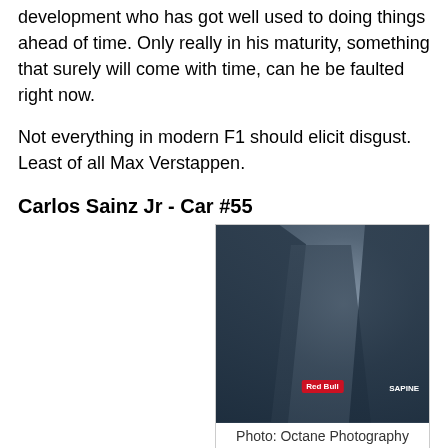development who has got well used to doing things ahead of time. Only really in his maturity, something that surely will come with time, can he be faulted right now.
Not everything in modern F1 should elicit disgust. Least of all Max Verstappen.
Carlos Sainz Jr - Car #55
Carlos Sainz Jr's F1 promotion to F1 didn't look likely for a long time. His career in the junior formulae started well, but then plateaued for a couple of seasons. In that time his star was out-shone by others in the Red Bull skyline. His GP3 champion team mate Daniil Kvyat was fast-tracked to F1
[Figure (photo): Carlos Sainz Jr in a Toro Rosso team uniform talking with team members in a garage setting]
Photo: Octane Photography